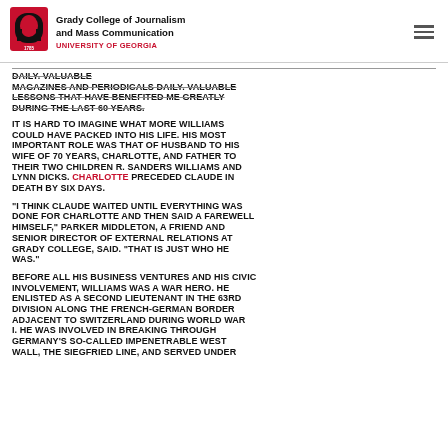Grady College of Journalism and Mass Communication — UNIVERSITY OF GEORGIA
DAILY. VALUABLE LESSONS THAT HAVE BENEFITED ME GREATLY DURING THE LAST 60 YEARS.
IT IS HARD TO IMAGINE WHAT MORE WILLIAMS COULD HAVE PACKED INTO HIS LIFE. HIS MOST IMPORTANT ROLE WAS THAT OF HUSBAND TO HIS WIFE OF 70 YEARS, CHARLOTTE, AND FATHER TO THEIR TWO CHILDREN R. SANDERS WILLIAMS AND LYNN DICKS. CHARLOTTE PRECEDED CLAUDE IN DEATH BY SIX DAYS.
"I THINK CLAUDE WAITED UNTIL EVERYTHING WAS DONE FOR CHARLOTTE AND THEN SAID A FAREWELL HIMSELF," PARKER MIDDLETON, A FRIEND AND SENIOR DIRECTOR OF EXTERNAL RELATIONS AT GRADY COLLEGE, SAID. "THAT IS JUST WHO HE WAS."
BEFORE ALL HIS BUSINESS VENTURES AND HIS CIVIC INVOLVEMENT, WILLIAMS WAS A WAR HERO. HE ENLISTED AS A SECOND LIEUTENANT IN THE 63RD DIVISION ALONG THE FRENCH-GERMAN BORDER ADJACENT TO SWITZERLAND DURING WORLD WAR I. HE WAS INVOLVED IN BREAKING THROUGH GERMANY'S SO-CALLED IMPENETRABLE WEST WALL, THE SIEGFRIED LINE, AND SERVED UNDER